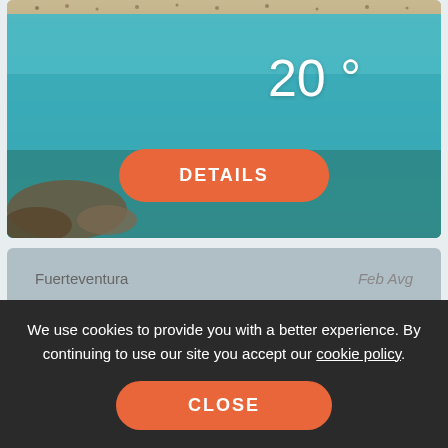[Figure (photo): Beach photo showing turquoise water with people swimming, rocks in foreground, with '20 °' temperature overlay and a DETAILS button]
Fuerteventura
Feb Avg
We use cookies to provide you with a better experience. By continuing to use our site you accept our cookie policy.
CLOSE